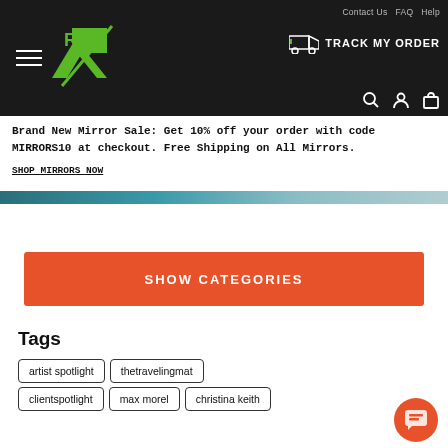Contact Us  FAQ  Help  TRACK MY ORDER
Brand New Mirror Sale: Get 10% off your order with code MIRRORS10 at checkout. Free Shipping on All Mirrors. SHOP MIRRORS NOW
SHOW CATEGORIES
Tags
artist spotlight
thetravelingmat
clientspotlight
max morel
christina keith